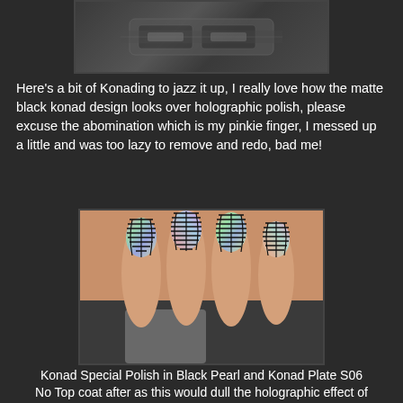[Figure (photo): Top portion of a nail polish bottle, partially cropped, on dark background]
Here's a bit of Konading to jazz it up, I really love how the matte black konad design looks over holographic polish, please excuse the abomination which is my pinkie finger, I messed up a little and was too lazy to remove and redo, bad me!
[Figure (photo): Close-up photo of a hand with holographic nail polish and black Konad stamped pattern (geometric/striped design) on each nail, fingers curled to show nails]
Konad Special Polish in Black Pearl and Konad Plate S06 No Top coat after as this would dull the holographic effect of the polish